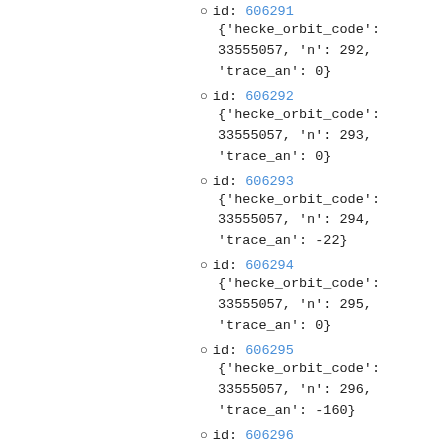id: 606291 {'hecke_orbit_code': 33555057, 'n': 292, 'trace_an': 0}
id: 606292 {'hecke_orbit_code': 33555057, 'n': 293, 'trace_an': 0}
id: 606293 {'hecke_orbit_code': 33555057, 'n': 294, 'trace_an': -22}
id: 606294 {'hecke_orbit_code': 33555057, 'n': 295, 'trace_an': 0}
id: 606295 {'hecke_orbit_code': 33555057, 'n': 296, 'trace_an': -160}
id: 606296 (partial)